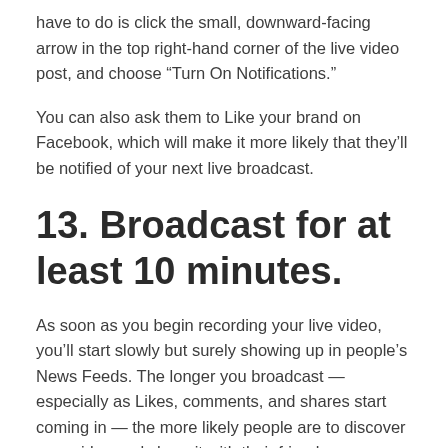have to do is click the small, downward-facing arrow in the top right-hand corner of the live video post, and choose “Turn On Notifications.”
You can also ask them to Like your brand on Facebook, which will make it more likely that they’ll be notified of your next live broadcast.
13. Broadcast for at least 10 minutes.
As soon as you begin recording your live video, you’ll start slowly but surely showing up in people’s News Feeds. The longer you broadcast — especially as Likes, comments, and shares start coming in — the more likely people are to discover your video and share it with their friends.
Because timing is such an important factor for engagement in